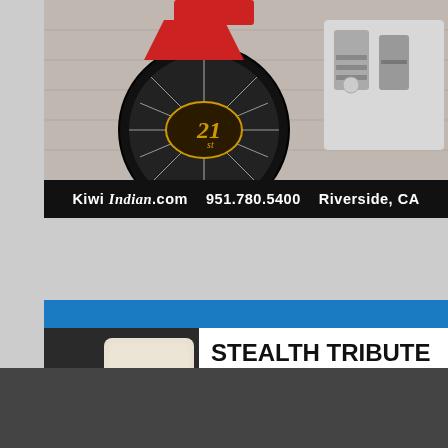[Figure (photo): Vintage motorcycle front wheel and engine, red spoked wheel with '21' badge, chrome engine visible. Advertisement for Kiwi Indian motorcycle shop.]
Kiwi Indian.com  951.780.5400  Riverside, CA
[Figure (photo): Close-up of S&S air cleaner on a motorcycle engine with chrome parts. Advertisement for S&S Stealth Tribute Air Cleaner Kits, new for 2020.]
STEALTH TRIBUTE AIR CLEANER KITS
// NEW FOR 2020
// CLASSIC STYLING
// FITMENT FOR MOST HD® MODELS